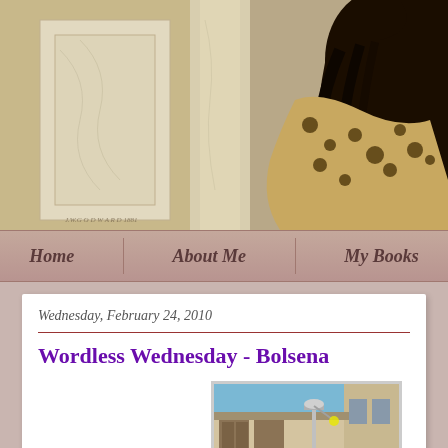[Figure (photo): Painting/artwork showing a figure with long dark hair in ornate clothing, standing near marble architectural elements. Artist signature visible at lower left.]
Home | About Me | My Books
Wednesday, February 24, 2010
Wordless Wednesday - Bolsena
[Figure (photo): Photograph of a building exterior in Bolsena, Italy, showing architectural details with a street lamp against a wall, blue sky visible.]